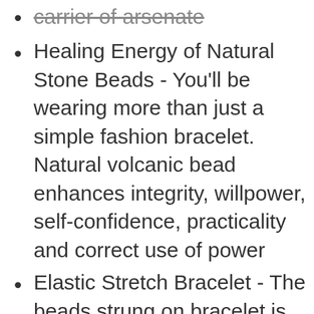carrier of arsenate
Healing Energy of Natural Stone Beads - You'll be wearing more than just a simple fashion bracelet. Natural volcanic bead enhances integrity, willpower, self-confidence, practicality and correct use of power
Elastic Stretch Bracelet - The beads strung on bracelet is elastic so it makes it very easy to slip on to your wrist.You can match with your other jewelry easily to complete your look. It will look great no matter what the occasion
You will get 5pcs Real natural gems